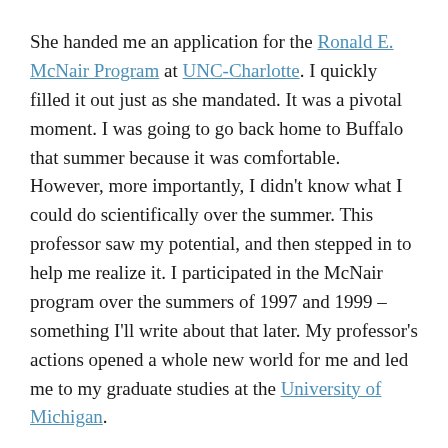She handed me an application for the Ronald E. McNair Program at UNC-Charlotte. I quickly filled it out just as she mandated. It was a pivotal moment. I was going to go back home to Buffalo that summer because it was comfortable. However, more importantly, I didn't know what I could do scientifically over the summer. This professor saw my potential, and then stepped in to help me realize it. I participated in the McNair program over the summers of 1997 and 1999 – something I'll write about that later. My professor's actions opened a whole new world for me and led me to my graduate studies at the University of Michigan.